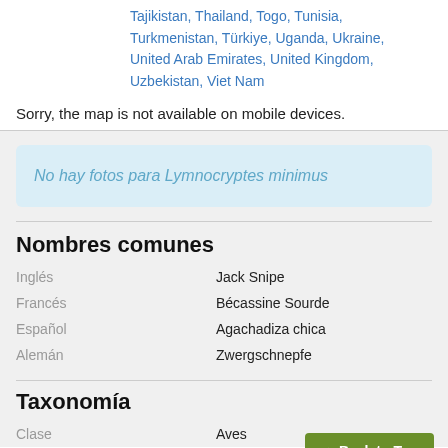Tajikistan, Thailand, Togo, Tunisia, Turkmenistan, Türkiye, Uganda, Ukraine, United Arab Emirates, United Kingdom, Uzbekistan, Viet Nam
Sorry, the map is not available on mobile devices.
No hay fotos para Lymnocryptes minimus
Nombres comunes
Inglés: Jack Snipe
Francés: Bécassine Sourde
Español: Agachadiza chica
Alemán: Zwergschnepfe
Taxonomía
Clase: Aves